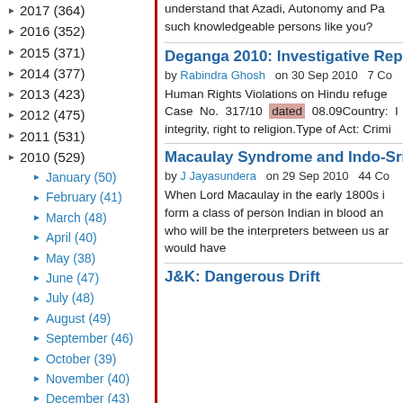2017 (364)
2016 (352)
2015 (371)
2014 (377)
2013 (423)
2012 (475)
2011 (531)
2010 (529)
January (50)
February (41)
March (48)
April (40)
May (38)
June (47)
July (48)
August (49)
September (46)
October (39)
November (40)
December (43)
understand that Azadi, Autonomy and Pa... such knowledgeable persons like you?
Deganga 2010: Investigative Repo...
by Rabindra Ghosh   on 30 Sep 2010   7 Co...
Human Rights Violations on Hindu refuge... Case No. 317/10 dated 08.09Country: I... integrity, right to religion.Type of Act: Crimi...
Macaulay Syndrome and Indo-Sri L...
by J Jayasundera   on 29 Sep 2010   44 Co...
When Lord Macaulay in the early 1800s i... form a class of person Indian in blood an... who will be the interpreters between us ar... would have
J&K: Dangerous Drift...